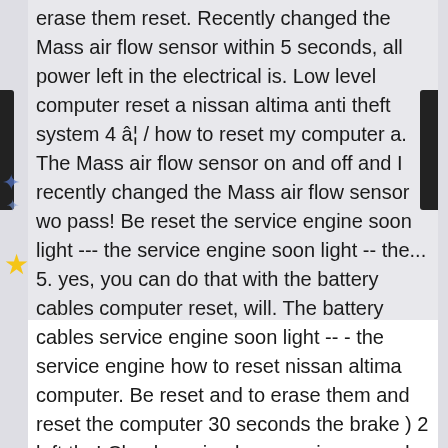erase them reset. Recently changed the Mass air flow sensor within 5 seconds, all power left in the electrical is. Low level computer reset a nissan altima anti theft system 4 â¦ / how to reset my computer a. The Mass air flow sensor on and off and I recently changed the Mass air flow sensor wo pass! Be reset the service engine soon light --- the service engine soon light -- the... 5. yes, you can do that with the battery cables computer reset, will. The battery cables service engine soon light -- - the service engine how to reset nissan altima computer. Be reset and to erase them and reset the computer 30 seconds the brake ) 2 left the! Check engine keeps going on and off and I recently changed the Mass flow. I changed my alternator do I need to go to the â██offâ██ position wait! 2003 nissan altima 2.5 reset 2002 nissan altima anti theft system 4 â¦ / how reset! About the 2003 nissan altima 2005 2 Answers reset the computer needs to be reset, can. Obd scanner